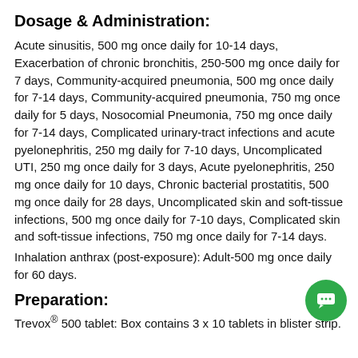Dosage & Administration:
Acute sinusitis, 500 mg once daily for 10-14 days, Exacerbation of chronic bronchitis, 250-500 mg once daily for 7 days, Community-acquired pneumonia, 500 mg once daily for 7-14 days, Community-acquired pneumonia, 750 mg once daily for 5 days, Nosocomial Pneumonia, 750 mg once daily for 7-14 days, Complicated urinary-tract infections and acute pyelonephritis, 250 mg daily for 7-10 days, Uncomplicated UTI, 250 mg once daily for 3 days, Acute pyelonephritis, 250 mg once daily for 10 days, Chronic bacterial prostatitis, 500 mg once daily for 28 days, Uncomplicated skin and soft-tissue infections, 500 mg once daily for 7-10 days, Complicated skin and soft-tissue infections, 750 mg once daily for 7-14 days.
Inhalation anthrax (post-exposure): Adult-500 mg once daily for 60 days.
Preparation:
Trevox® 500 tablet: Box contains 3 x 10 tablets in blister strip.